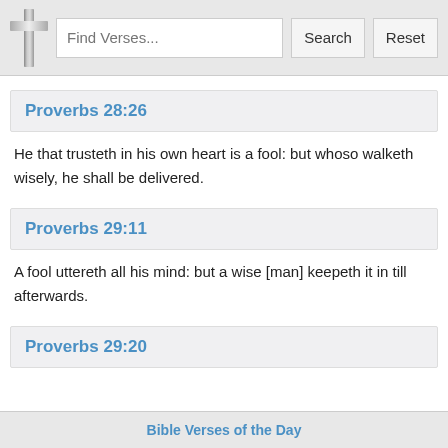Find Verses... Search Reset
Proverbs 28:26
He that trusteth in his own heart is a fool: but whoso walketh wisely, he shall be delivered.
Proverbs 29:11
A fool uttereth all his mind: but a wise [man] keepeth it in till afterwards.
Proverbs 29:20
Bible Verses of the Day